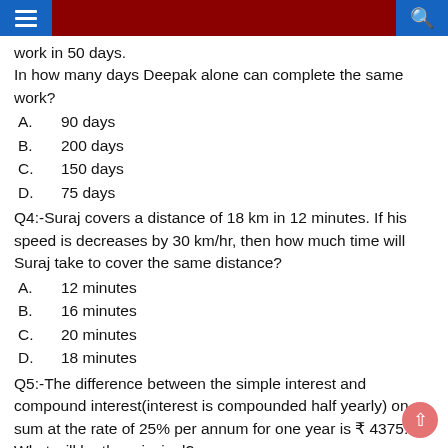[Navigation header with hamburger menu, dark red bar, and search icon]
work in 50 days.
In how many days Deepak alone can complete the same work?
A.    90 days
B.    200 days
C.    150 days
D.    75 days
Q4:-Suraj covers a distance of 18 km in 12 minutes. If his speed is decreases by 30 km/hr, then how much time will Suraj take to cover the same distance?
A.    12 minutes
B.    16 minutes
C.    20 minutes
D.    18 minutes
Q5:-The difference between the simple interest and compound interest(interest is compounded half yearly) on a sum at the rate of 25% per annum for one year is ₹ 4375. What will be the principal?
A.    ₹ 280000